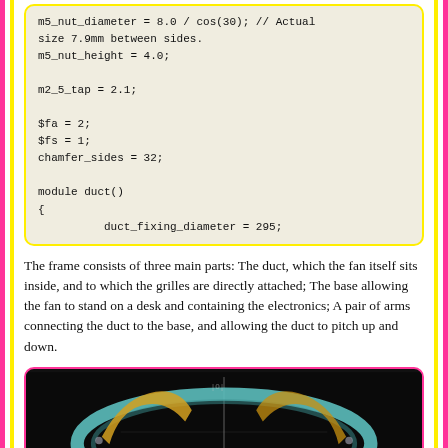m5_nut_diameter = 8.0 / cos(30); // Actual size 7.9mm between sides.
m5_nut_height = 4.0;

m2_5_tap = 2.1;

$fa = 2;
$fs = 1;
chamfer_sides = 32;

module duct()
{
        duct_fixing_diameter = 295;
The frame consists of three main parts: The duct, which the fan itself sits inside, and to which the grilles are directly attached; The base allowing the fan to stand on a desk and containing the electronics; A pair of arms connecting the duct to the base, and allowing the duct to pitch up and down.
[Figure (photo): A 3D CAD rendering on a black background showing a circular duct/ring component with teal/blue coloring and orange/yellow accent parts, viewed from an angle with a vertical axis line visible.]